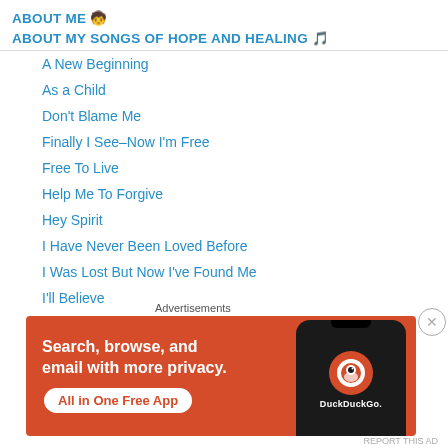ABOUT ME 🧒
ABOUT MY SONGS OF HOPE AND HEALING 🎵
A New Beginning
As a Child
Don't Blame Me
Finally I See–Now I'm Free
Free To Live
Help Me To Forgive
Hey Spirit
I Have Never Been Loved Before
I Was Lost But Now I've Found Me
I'll Believe
Let Your Heart Change Your Mind
Pain From the Past
[Figure (infographic): DuckDuckGo advertisement banner with orange background. Text reads: Search, browse, and email with more privacy. All in One Free App. Shows DuckDuckGo logo on a phone mockup.]